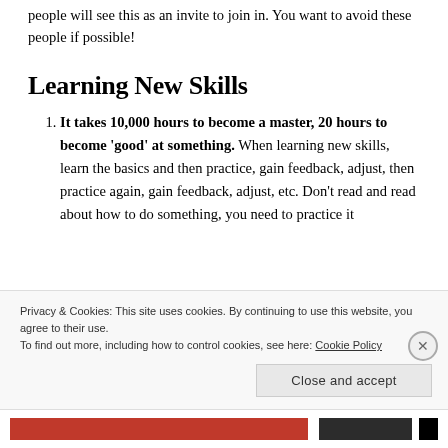people will see this as an invite to join in. You want to avoid these people if possible!
Learning New Skills
It takes 10,000 hours to become a master, 20 hours to become ‘good’ at something. When learning new skills, learn the basics and then practice, gain feedback, adjust, then practice again, gain feedback, adjust, etc. Don’t read and read about how to do something, you need to practice it
Privacy & Cookies: This site uses cookies. By continuing to use this website, you agree to their use.
To find out more, including how to control cookies, see here: Cookie Policy
Close and accept